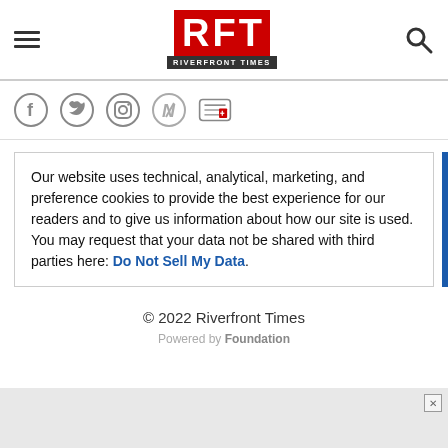RFT RIVERFRONT TIMES — navigation header with hamburger menu, logo, and search icon
[Figure (logo): Social media icons: Facebook, Twitter, Instagram, Apple News, Google News]
Our website uses technical, analytical, marketing, and preference cookies to provide the best experience for our readers and to give us information about how our site is used. You may request that your data not be shared with third parties here: Do Not Sell My Data.
© 2022 Riverfront Times
Powered by Foundation